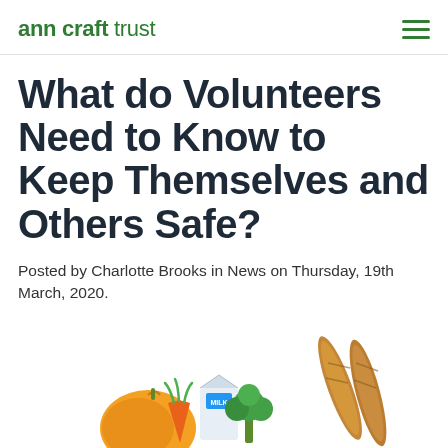ann craft trust
What do Volunteers Need to Know to Keep Themselves and Others Safe?
Posted by Charlotte Brooks in News on Thursday, 19th March, 2020.
[Figure (illustration): Illustration of a grocery bag with vegetables, bread, and a milk carton spilling out — colorful flat-style drawing of food items including a pumpkin, carrots, broccoli, baguettes, and a milk box.]